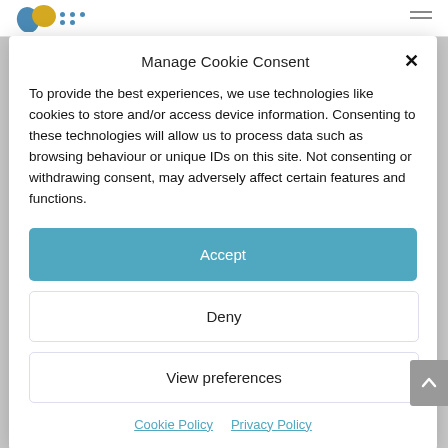[Figure (logo): Partial colorful logo visible at top left of page header]
Manage Cookie Consent
To provide the best experiences, we use technologies like cookies to store and/or access device information. Consenting to these technologies will allow us to process data such as browsing behaviour or unique IDs on this site. Not consenting or withdrawing consent, may adversely affect certain features and functions.
Accept
Deny
View preferences
Cookie Policy   Privacy Policy